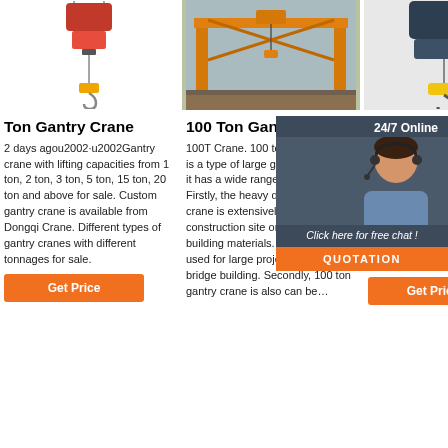[Figure (photo): Electric hoist / wire rope hoist product photo, orange motor on white background]
[Figure (photo): 100 ton gantry crane in outdoor construction yard, orange structure]
[Figure (photo): Electric chain hoist with yellow hook block, dark blue motor]
Ton Gantry Crane
100 Ton Gantry Crane
100 Ton Gantry Crane
2 days agou2002·u2002Gantry crane with lifting capacities from 1 ton, 2 ton, 3 ton, 5 ton, 15 ton, 20 ton and above for sale. Custom gantry crane is available from Dongqi Crane. Different types of gantry cranes with different tonnages for sale.
100T Crane. 100 ton gantry crane is a type of large gantry crane, and it has a wide range of applications. Firstly, the heavy duty gantry crane is extensively applied in the construction site or for lifting building materials. Besides, it is used for large projects like railway, bridge building. Secondly, 100 ton gantry crane is also can be…
100 ton gantry crane as a kind of heavy duty gantry crane, can lift the heavy goods in high efficiency. 100 ton gantry crane are supplied in our group in high quality and reasonable price. The high-tech content are applied in our group so that…
24/7 Online
Click here for free chat !
QUOTATION
Get Price
Get Price
Get Price